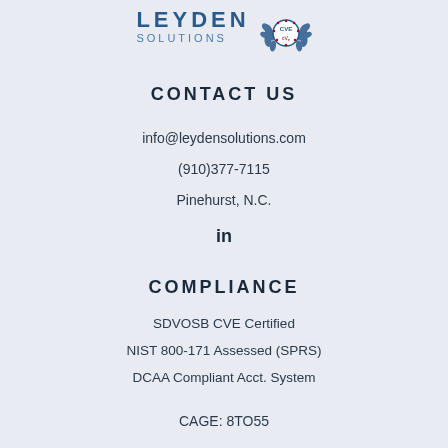[Figure (logo): Leyden Solutions logo with text LEYDEN SOLUTIONS and CVE certification badge with laurel wreath]
CONTACT US
info@leydensolutions.com
(910)377-7115
Pinehurst, N.C.
in
COMPLIANCE
SDVOSB CVE Certified
NIST 800-171 Assessed (SPRS)
DCAA Compliant Acct. System
CAGE: 8TO55